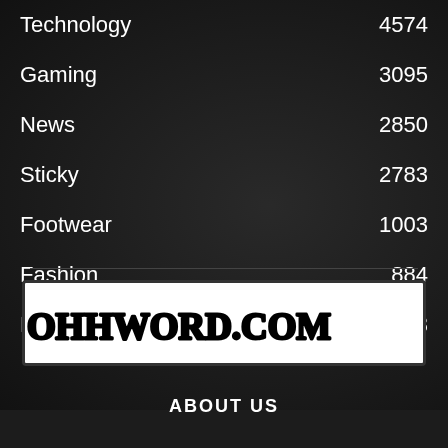Technology  4574
Gaming  3095
News  2850
Sticky  2783
Footwear  1003
Fashion  884
Nike  863
[Figure (logo): Ohhword.com logo — white background, bold collegiate/varsity font, black text with outlined border effect]
ABOUT US